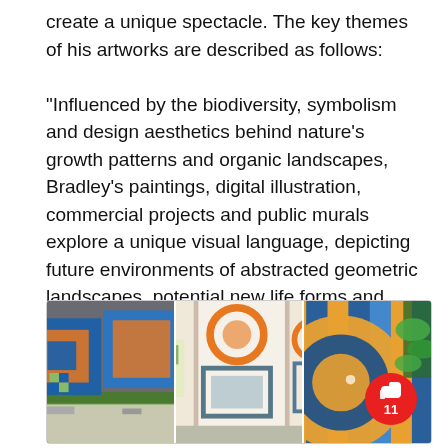create a unique spectacle. The key themes of his artworks are described as follows:

"Influenced by the biodiversity, symbolism and design aesthetics behind nature's growth patterns and organic landscapes, Bradley's paintings, digital illustration, commercial projects and public murals explore a unique visual language, depicting future environments of abstracted geometric landscapes, potential new life forms and human intervention with nature."
[Figure (photo): Three side-by-side images of geometric abstract public murals featuring bold blue, orange, and teal shapes and patterns. A red notification badge with thumbs up icon and number 11 appears in the bottom-right corner.]